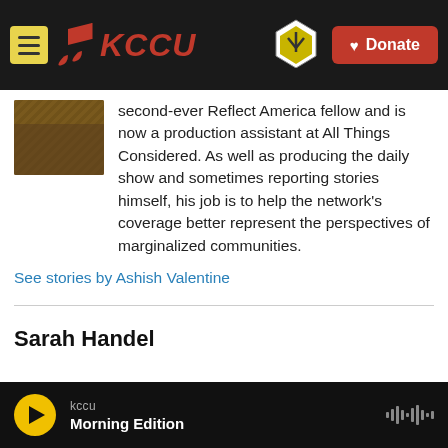[Figure (screenshot): KCCU radio station website header with menu button, KCCU logo in red italic text, Cameron University logo, and red Donate button with heart icon]
second-ever Reflect America fellow and is now a production assistant at All Things Considered. As well as producing the daily show and sometimes reporting stories himself, his job is to help the network's coverage better represent the perspectives of marginalized communities.
See stories by Ashish Valentine
Sarah Handel
[Figure (screenshot): Audio player bar showing play button, kccu station label, Morning Edition show title, and waveform icon on black background]